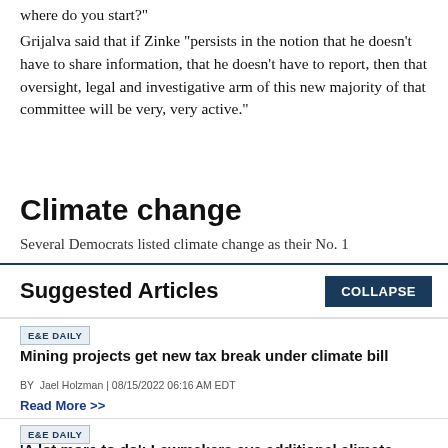where do you start?"
Grijalva said that if Zinke "persists in the notion that he doesn't have to share information, that he doesn't have to report, then that oversight, legal and investigative arm of this new majority of that committee will be very, very active."
Climate change
Several Democrats listed climate change as their No. 1
Suggested Articles
COLLAPSE
E&E DAILY
Mining projects get new tax break under climate bill
BY Jael Holzman | 08/15/2022 06:16 AM EDT
Read More >>
E&E DAILY
'A lot more to do': Lawmakers eye additional climate action